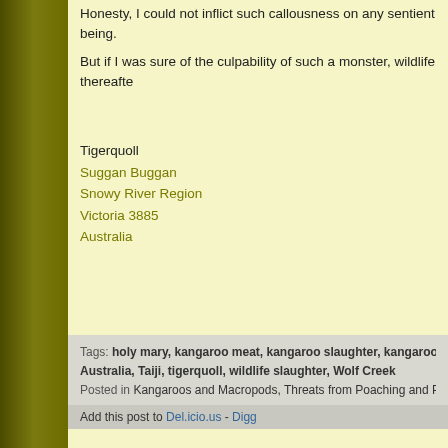Honesty, I could not inflict such callousness on any sentient being.
But if I was sure of the culpability of such a monster, wildlife thereafte
Tigerquoll
Suggan Buggan
Snowy River Region
Victoria 3885
Australia
Tags: holy mary, kangaroo meat, kangaroo slaughter, kangaroo slaughter f Australia, Taiji, tigerquoll, wildlife slaughter, Wolf Creek
Posted in Kangaroos and Macropods, Threats from Poaching and Poisonin
Add this post to Del.icio.us - Digg